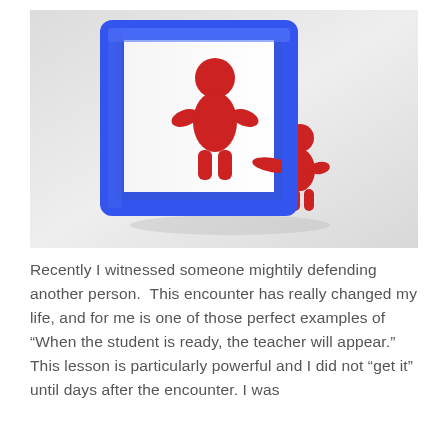[Figure (illustration): 3D illustration of a small red figure pointing at a larger red figure reflected in a blue-framed mirror, on a light grey gradient background]
Recently I witnessed someone mightily defending another person.  This encounter has really changed my life, and for me is one of those perfect examples of "When the student is ready, the teacher will appear." This lesson is particularly powerful and I did not "get it" until days after the encounter. I was